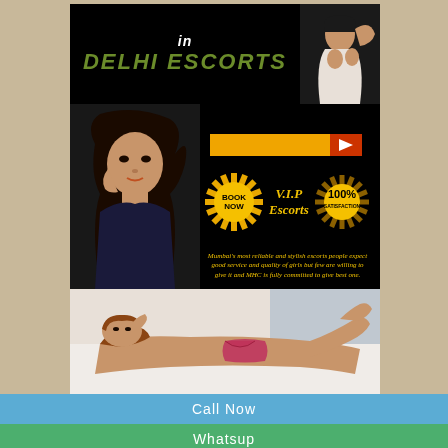in DELHI ESCORTS
[Figure (photo): Woman posing in black lingerie top with dark hair, portrait shot on black background]
[Figure (photo): Woman in provocative pose on white surface, colorful bikini bottom]
Mumbai's most reliable and stylish escorts people expect good service and quality of girls but few are willing to give it and MHC is fully committed to give best one.
Call Now
Whatsup